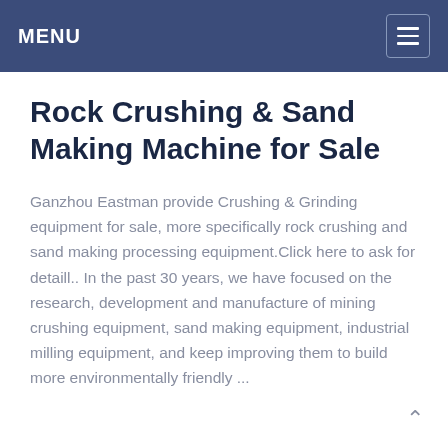MENU
Rock Crushing & Sand Making Machine for Sale
Ganzhou Eastman provide Crushing & Grinding equipment for sale, more specifically rock crushing and sand making processing equipment.Click here to ask for detaill.. In the past 30 years, we have focused on the research, development and manufacture of mining crushing equipment, sand making equipment, industrial milling equipment, and keep improving them to build more environmentally friendly ...